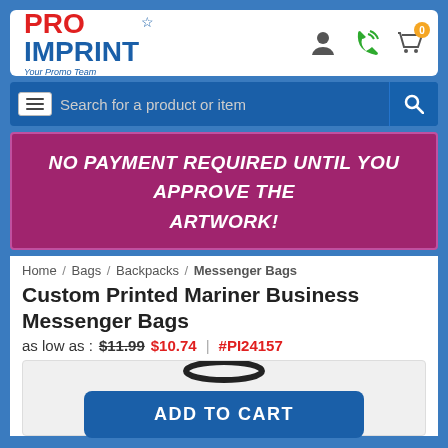[Figure (logo): PRO IMPRINT logo with red PRO, blue IMPRINT text and star icon. Tagline: Your Promo Team]
Search for a product or item
NO PAYMENT REQUIRED UNTIL YOU APPROVE THE ARTWORK!
Home / Bags / Backpacks / Messenger Bags
Custom Printed Mariner Business Messenger Bags
as low as : $11.99 $10.74 | #PI24157
[Figure (photo): Partial view of a dark gray messenger bag with black handle against white background]
ADD TO CART